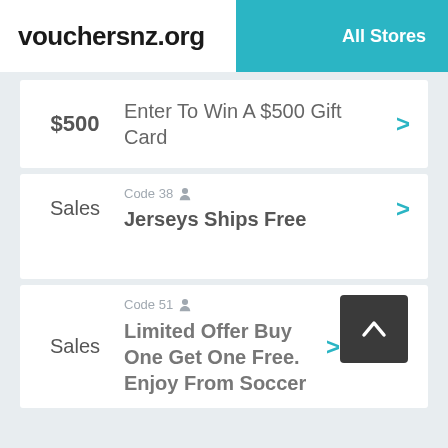vouchersnz.org  All Stores
$500  Enter To Win A $500 Gift Card
Sales  Code 38  Jerseys Ships Free
Sales  Code 51  Limited Offer Buy One Get One Free. Enjoy From Soccer